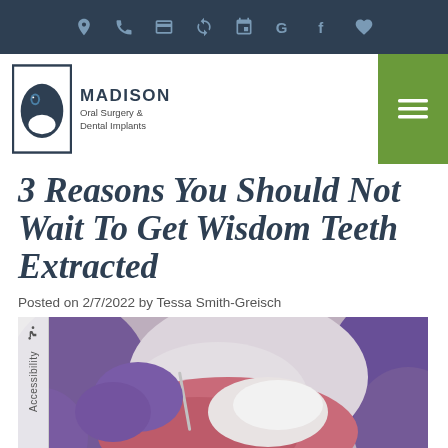Navigation bar with icons: location, phone, payment, refresh, calendar, Google, Facebook, favorites
[Figure (logo): Madison Oral Surgery & Dental Implants logo with stylized tooth/face icon]
3 Reasons You Should Not Wait To Get Wisdom Teeth Extracted
Posted on 2/7/2022 by Tessa Smith-Greisch
[Figure (photo): Close-up photo of gloved hands (purple latex gloves) working on dental model showing teeth and gum tissue]